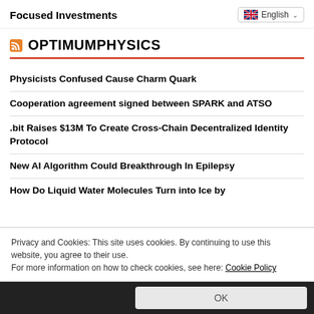Focused Investments
OPTIMUMPHYSICS
Physicists Confused Cause Charm Quark
Cooperation agreement signed between SPARK and ATSO
.bit Raises $13M To Create Cross-Chain Decentralized Identity Protocol
New AI Algorithm Could Breakthrough In Epilepsy
How Do Liquid Water Molecules Turn into Ice by
Privacy and Cookies: This site uses cookies. By continuing to use this website, you agree to their use.
For more information on how to check cookies, see here: Cookie Policy